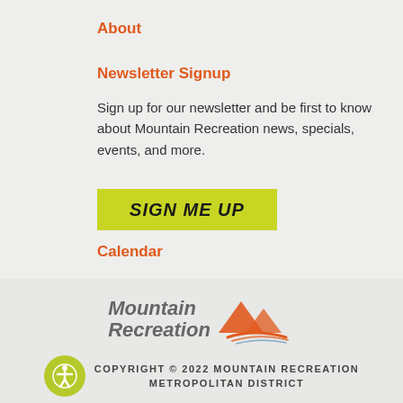About
Newsletter Signup
Sign up for our newsletter and be first to know about Mountain Recreation news, specials, events, and more.
[Figure (other): Green button with hand-written style bold italic text reading 'Sign Me Up']
Calendar
[Figure (logo): Mountain Recreation logo with stylized mountain and speed lines graphic in orange, with italic bold gray text 'Mountain Recreation']
COPYRIGHT © 2022 MOUNTAIN RECREATION METROPOLITAN DISTRICT